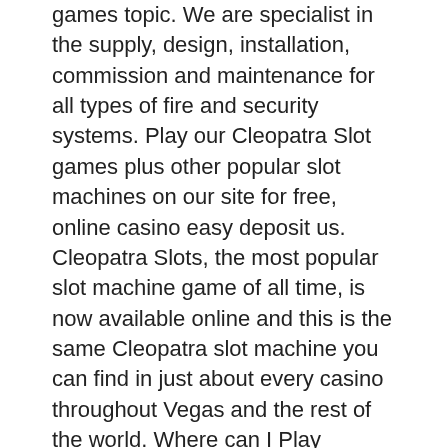games topic. We are specialist in the supply, design, installation, commission and maintenance for all types of fire and security systems. Play our Cleopatra Slot games plus other popular slot machines on our site for free, online casino easy deposit us. Cleopatra Slots, the most popular slot machine game of all time, is now available online and this is the same Cleopatra slot machine you can find in just about every casino throughout Vegas and the rest of the world. Where can I Play Jackpot Party casino games, spin palace casino descargar gratis. Jackpot party casino games can be played on android and Mac devices. Free spins (free gift spins in slot machines) are almost always given to new players in online casinos or given when new machines appear. Thanks to free spins, you can play the slot machine and try it out in action without depositing funds into